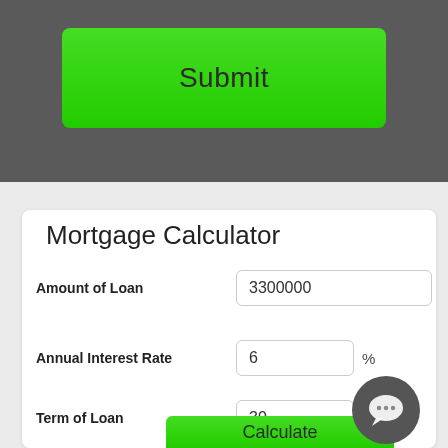[Figure (screenshot): Dark grey card section with a green Submit button]
Mortgage Calculator
Amount of Loan: 3300000
Annual Interest Rate: 6 %
Term of Loan: 30 Years
Calculate